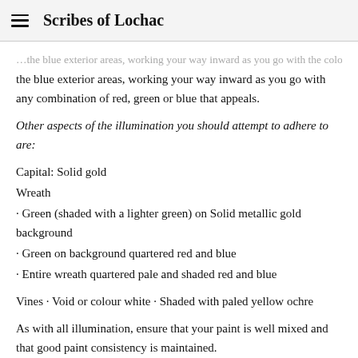Scribes of Lochac
the blue exterior areas, working your way inward as you go with any combination of red, green or blue that appeals.
Other aspects of the illumination you should attempt to adhere to are:
Capital: Solid gold
Wreath
· Green (shaded with a lighter green) on Solid metallic gold background
· Green on background quartered red and blue
· Entire wreath quartered pale and shaded red and blue
Vines · Void or colour white · Shaded with paled yellow ochre
As with all illumination, ensure that your paint is well mixed and that good paint consistency is maintained.